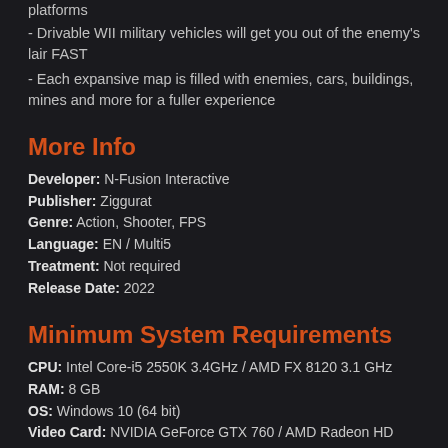platforms
- Drivable WII military vehicles will get you out of the enemy's lair FAST
- Each expansive map is filled with enemies, cars, buildings, mines and more for a fuller experience
More Info
Developer: N-Fusion Interactive
Publisher: Ziggurat
Genre: Action, Shooter, FPS
Language: EN / Multi5
Treatment: Not required
Release Date: 2022
Minimum System Requirements
CPU: Intel Core-i5 2550K 3.4GHz / AMD FX 8120 3.1 GHz
RAM: 8 GB
OS: Windows 10 (64 bit)
Video Card: NVIDIA GeForce GTX 760 / AMD Radeon HD 7870
Free Disk Space: 30 GB
Gameplay Trailer & Screenshots